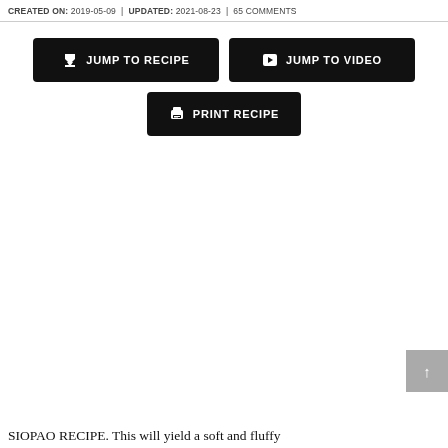CREATED ON: 2019-05-09 | UPDATED: 2021-08-23 | 65 COMMENTS
[Figure (other): Three black buttons: JUMP TO RECIPE, JUMP TO VIDEO, and PRINT RECIPE with respective icons]
SIOPAO RECIPE. This will yield a soft and fluffy